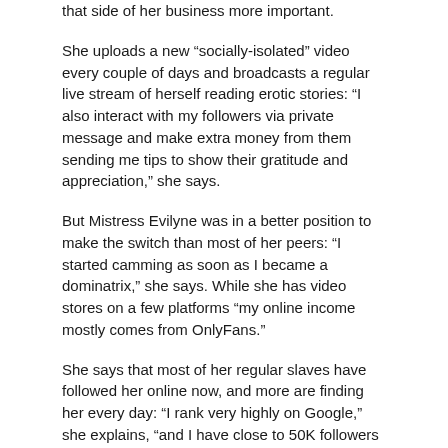that side of her business more important.
She uploads a new “socially-isolated” video every couple of days and broadcasts a regular live stream of herself reading erotic stories: “I also interact with my followers via private message and make extra money from them sending me tips to show their gratitude and appreciation,” she says.
But Mistress Evilyne was in a better position to make the switch than most of her peers: “I started camming as soon as I became a dominatrix,” she says. While she has video stores on a few platforms “my online income mostly comes from OnlyFans.”
She says that most of her regular slaves have followed her online now, and more are finding her every day: “I rank very highly on Google,” she explains, “and I have close to 50K followers on Twitter.
It isn’t easy though, she says, there is a lot of hard work involved in establishing an online presence. “It took me years to create not just a persona, but also enough content to earn a decent living from. It doesn’t happen overnight,” she said.
One of the biggest problems is making sure that her content isn’t copied by unscrupulous fans: “Unfortunately, none of us are immune to the laws of the internet.
“Once I finally did have a large following, I started to see my content being pirated left right and centre. It happens on such a scale that it is impossible